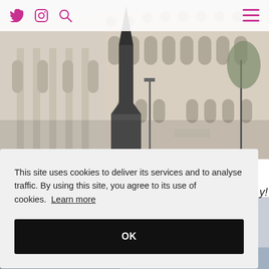Navigation header with Twitter, Instagram, Search icons and hamburger menu
[Figure (photo): Exterior photograph of a large classical European church or cathedral building with arched windows, taken on a sunny day. A dark spire/tower is visible in the center.]
This site uses cookies to deliver its services and to analyse traffic. By using this site, you agree to its use of cookies. Learn more
OK